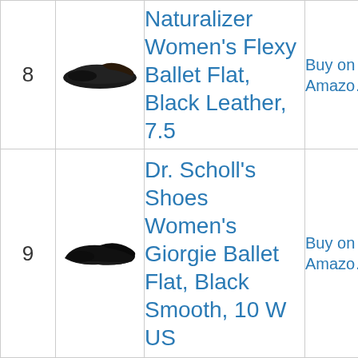| # | Image | Product Name | Link |
| --- | --- | --- | --- |
| 8 | [shoe image] | Naturalizer Women's Flexy Ballet Flat, Black Leather, 7.5 | Buy on Amazon |
| 9 | [shoe image] | Dr. Scholl's Shoes Women's Giorgie Ballet Flat, Black Smooth, 10 W US | Buy on Amazon |